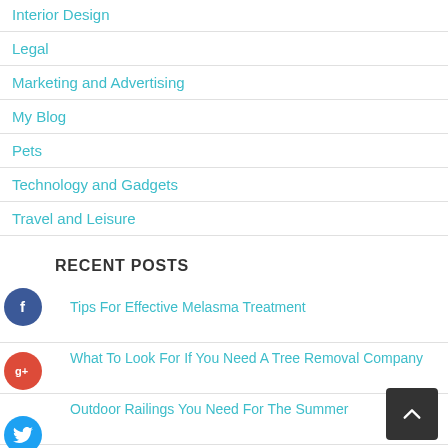Interior Design
Legal
Marketing and Advertising
My Blog
Pets
Technology and Gadgets
Travel and Leisure
RECENT POSTS
Tips For Effective Melasma Treatment
What To Look For If You Need A Tree Removal Company
Outdoor Railings You Need For The Summer
Steps To Creating A Social Media Real Estate Marketing Plan
Where to Find Wholesale Deals on Groceries, Clothing, and More